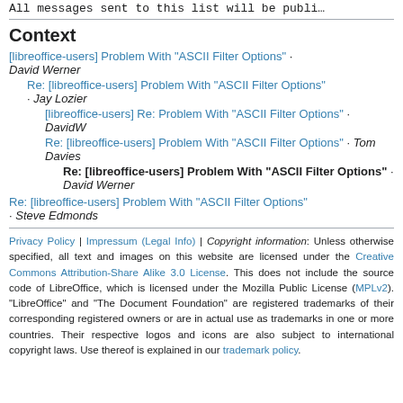All messages sent to this list will be publi...
Context
[libreoffice-users] Problem With "ASCII Filter Options" · David Werner
Re: [libreoffice-users] Problem With "ASCII Filter Options" · Jay Lozier
[libreoffice-users] Re: Problem With "ASCII Filter Options" · DavidW
Re: [libreoffice-users] Problem With "ASCII Filter Options" · Tom Davies
Re: [libreoffice-users] Problem With "ASCII Filter Options" · David Werner
Re: [libreoffice-users] Problem With "ASCII Filter Options" · Steve Edmonds
Privacy Policy | Impressum (Legal Info) | Copyright information: Unless otherwise specified, all text and images on this website are licensed under the Creative Commons Attribution-Share Alike 3.0 License. This does not include the source code of LibreOffice, which is licensed under the Mozilla Public License (MPLv2). "LibreOffice" and "The Document Foundation" are registered trademarks of their corresponding registered owners or are in actual use as trademarks in one or more countries. Their respective logos and icons are also subject to international copyright laws. Use thereof is explained in our trademark policy.